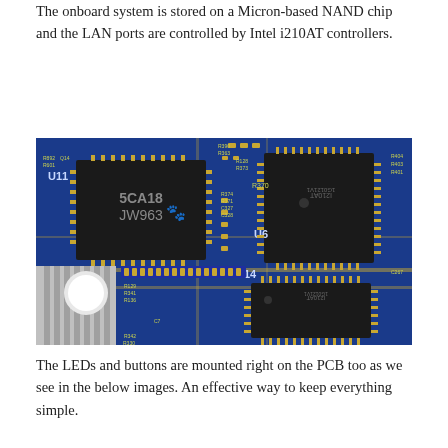The onboard system is stored on a Micron-based NAND chip and the LAN ports are controlled by Intel i210AT controllers.
[Figure (photo): Close-up photograph of a blue PCB (printed circuit board) showing multiple integrated circuit chips labeled U11, U6, U14, with component reference designators (R and C series), gold-colored pads/traces, and various SMD components. Two large black square IC packages (Intel i210AT controllers) are visible, as well as a heat sink on the lower left.]
The LEDs and buttons are mounted right on the PCB too as we see in the below images. An effective way to keep everything simple.